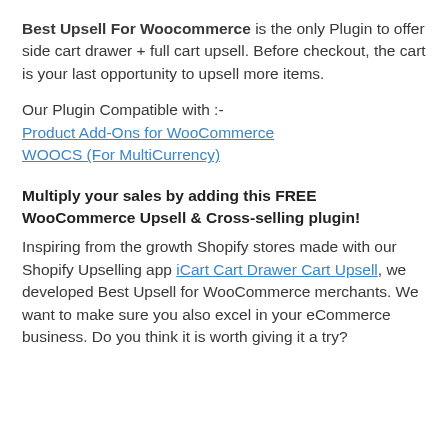Best Upsell For Woocommerce is the only Plugin to offer side cart drawer + full cart upsell. Before checkout, the cart is your last opportunity to upsell more items.
Our Plugin Compatible with :-
Product Add-Ons for WooCommerce
WOOCS (For MultiCurrency)
Multiply your sales by adding this FREE WooCommerce Upsell & Cross-selling plugin!
Inspiring from the growth Shopify stores made with our Shopify Upselling app iCart Cart Drawer Cart Upsell, we developed Best Upsell for WooCommerce merchants. We want to make sure you also excel in your eCommerce business. Do you think it is worth giving it a try?